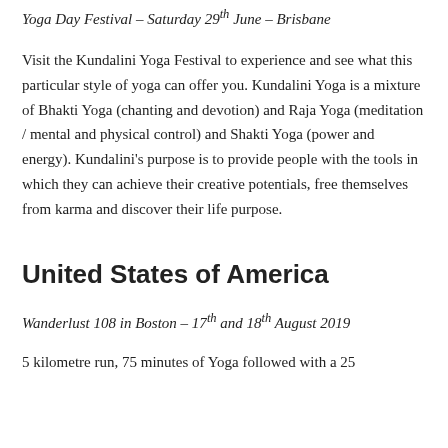Yoga Day Festival – Saturday 29th June – Brisbane
Visit the Kundalini Yoga Festival to experience and see what this particular style of yoga can offer you. Kundalini Yoga is a mixture of Bhakti Yoga (chanting and devotion) and Raja Yoga (meditation / mental and physical control) and Shakti Yoga (power and energy). Kundalini's purpose is to provide people with the tools in which they can achieve their creative potentials, free themselves from karma and discover their life purpose.
United States of America
Wanderlust 108 in Boston – 17th and 18th August 2019
5 kilometre run, 75 minutes of Yoga followed with a 25